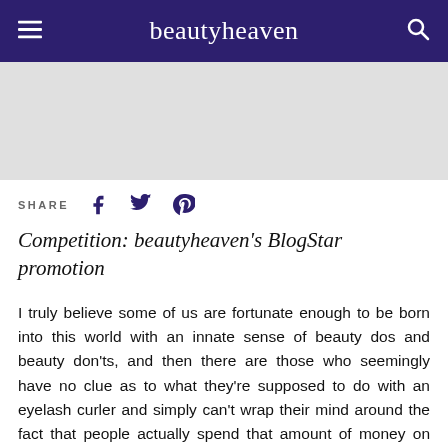beautyheaven
[Figure (other): Gray placeholder/advertisement banner area]
SHARE
Competition: beautyheaven's BlogStar promotion
I truly believe some of us are fortunate enough to be born into this world with an innate sense of beauty dos and beauty don'ts, and then there are those who seemingly have no clue as to what they're supposed to do with an eyelash curler and simply can't wrap their mind around the fact that people actually spend that amount of money on one single product.